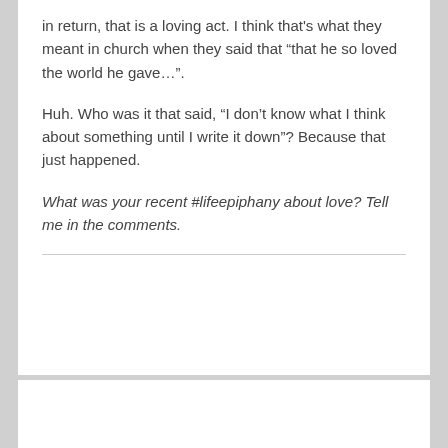in return, that is a loving act. I think that's what they meant in church when they said that “that he so loved the world he gave…”.
Huh. Who was it that said, “I don’t know what I think about something until I write it down”? Because that just happened.
What was your recent #lifeepiphany about love? Tell me in the comments.